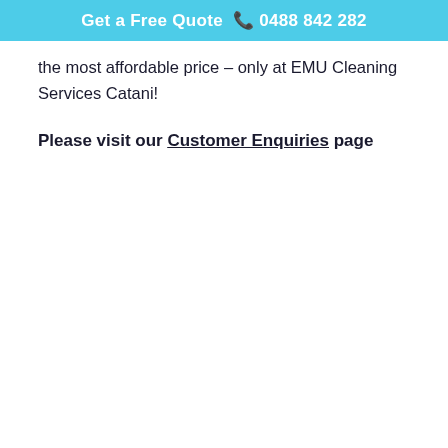Get a Free Quote  ☎ 0488 842 282
the most affordable price – only at EMU Cleaning Services Catani!
Please visit our Customer Enquiries page